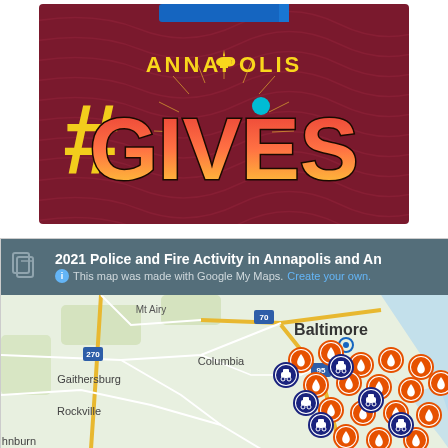[Figure (logo): Annapolis Gives promotional graphic with dark red/maroon swirling background, large yellow hashtag symbol, and colorful 'GIVES' text in gradient red-to-yellow with 'ANNAPOLIS' above in yellow, comic-book style design]
[Figure (map): Screenshot of Google My Maps showing '2021 Police and Fire Activity in Annapolis and An...' with map of Maryland region showing Baltimore, Columbia, Gaithersburg, Rockville, and surrounding areas. Map has clusters of orange flame icons (fire activity) and dark blue car/police icons concentrated in the Annapolis area east of Baltimore.]